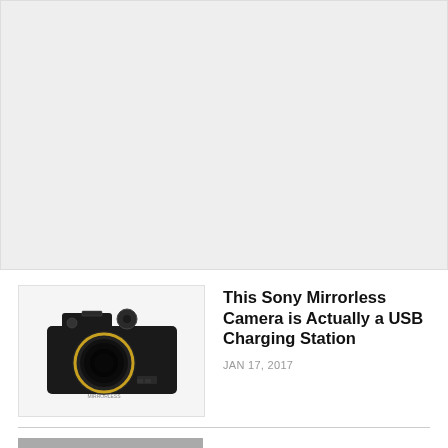[Figure (other): Gray advertisement placeholder box at top of page]
[Figure (photo): Photo of a Sony mirrorless camera styled as a USB charging station, black body with gold ring lens detail]
This Sony Mirrorless Camera is Actually a USB Charging Station
JAN 17, 2017
[Figure (photo): Partial thumbnail image at bottom of page, cut off]
Partial article title visible at bottom, cut off